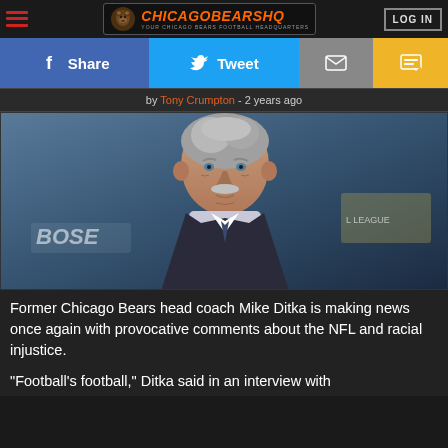ChicagoBearshq - Your Chicago Bears Football Headquarters | LOG IN
f Share | Tweet | mail | sms
by Tony Crumpton - 2 years ago
[Figure (photo): Former Chicago Bears head coach Mike Ditka at an event, Bose branding and NFL league branding visible in background]
Former Chicago Bears head coach Mike Ditka is making news once again with provocative comments about the NFL and racial injustice.
"Football's football," Ditka said in an interview with